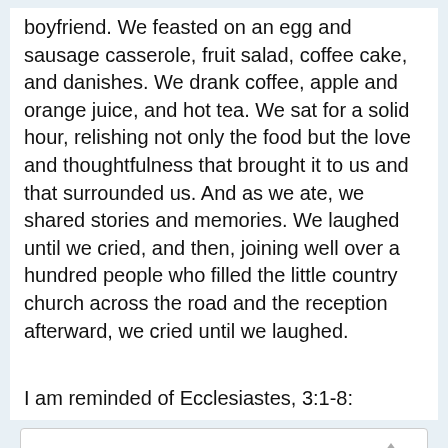boyfriend. We feasted on an egg and sausage casserole, fruit salad, coffee cake, and danishes. We drank coffee, apple and orange juice, and hot tea. We sat for a solid hour, relishing not only the food but the love and thoughtfulness that brought it to us and that surrounded us. And as we ate, we shared stories and memories. We laughed until we cried, and then, joining well over a hundred people who filled the little country church across the road and the reception afterward, we cried until we laughed.
I am reminded of Ecclesiastes, 3:1-8:
There is a season for everything, a time for every occupation under heaven:

A time for giving birth, a time for dying; a